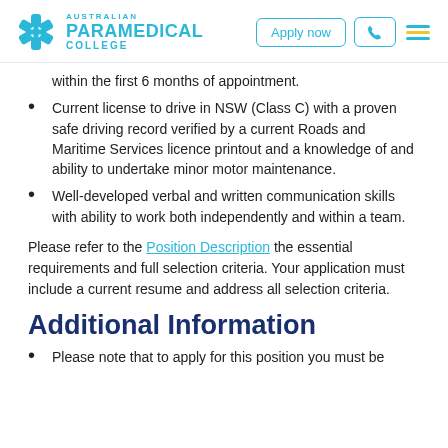Australian Paramedical College | Apply now
within the first 6 months of appointment.
Current license to drive in NSW (Class C) with a proven safe driving record verified by a current Roads and Maritime Services licence printout and a knowledge of and ability to undertake minor motor maintenance.
Well-developed verbal and written communication skills with ability to work both independently and within a team.
Please refer to the Position Description the essential requirements and full selection criteria. Your application must include a current resume and address all selection criteria.
Additional Information
Please note that to apply for this position you must be